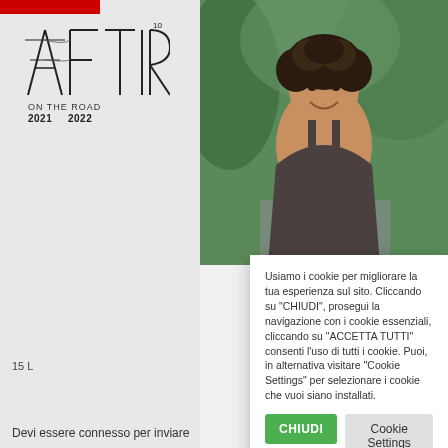[Figure (logo): AFTIR ON THE ROAD 2021 2022 logo with stylized text and power line towers]
[Figure (photo): Woman with curly dark hair smiling outdoors with green trees in background]
Usiamo i cookie per migliorare la tua esperienza sul sito. Cliccando su "CHIUDI", prosegui la navigazione con i cookie essenziali, cliccando su "ACCETTA TUTTI" consenti l'uso di tutti i cookie. Puoi, in alternativa visitare "Cookie Settings" per selezionare i cookie che vuoi siano installati.
CHIUDI
Cookie Settings
Accetta tutto
15 L
Devi essere connesso per inviare